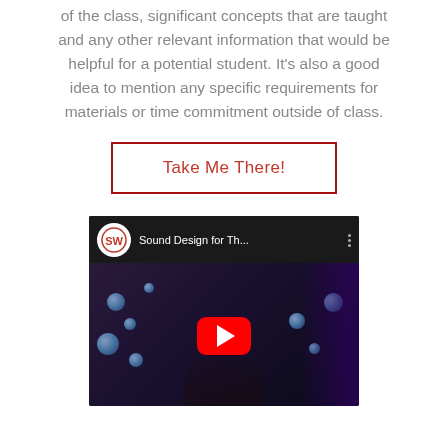of the class, significant concepts that are taught and any other relevant information that would be helpful for a potential student. It's also a good idea to mention any specific requirements for materials or time commitment outside of class.
Take Me There!
[Figure (screenshot): YouTube video embed thumbnail showing 'Sound Design for Th...' with a man in front of colorful audio equipment, red YouTube play button overlay, and a channel logo (SW in a circle).]